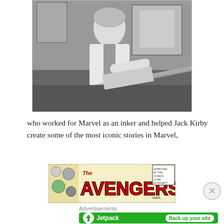[Figure (photo): Black and white photograph of a man (likely a comic artist) sitting at a drawing desk/drafting table, working. Comic art visible in background on walls.]
who worked for Marvel as an inker and helped Jack Kirby create some of the most iconic stories in Marvel,
[Figure (illustration): The Avengers comic book cover/logo image showing 'The AVENGERS' in large red lettering with comic characters on the left side and Comics Code Authority seal on the right, issue #4, MAR.]
Advertisements
[Figure (screenshot): Jetpack advertisement banner on green background with Jetpack logo and 'Back up your site' button]